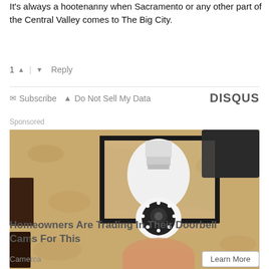It's always a hootenanny when Sacramento or any other part of the Central Valley comes to The Big City.
1 ▲ | ▼ Reply
✉ Subscribe  ▲ Do Not Sell My Data  DISQUS
Sponsored
[Figure (photo): A security camera bulb being inserted into an outdoor black lantern-style light fixture mounted on a textured beige stucco wall.]
Homeowners Are Trading In Their Doorbell Cams For This
Camerca
Learn More